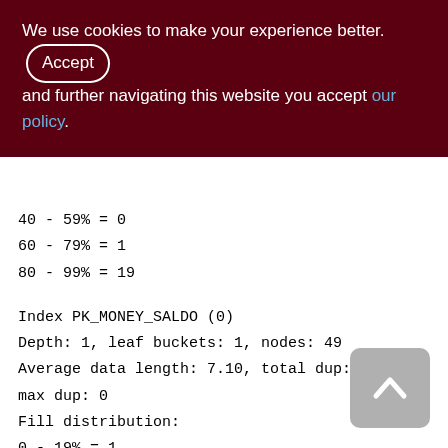We use cookies to make your experience better. By Accepting and further navigating this website you accept our policy.
40 - 59% = 0
60 - 79% = 1
80 - 99% = 19
Index PK_MONEY_SALDO (0)
Depth: 1, leaf buckets: 1, nodes: 49
Average data length: 7.10, total dup: 0, max dup: 0
Fill distribution:
0 - 19% = 1
20 - 39% = 0
40 - 59% = 0
60 - 79% = 0